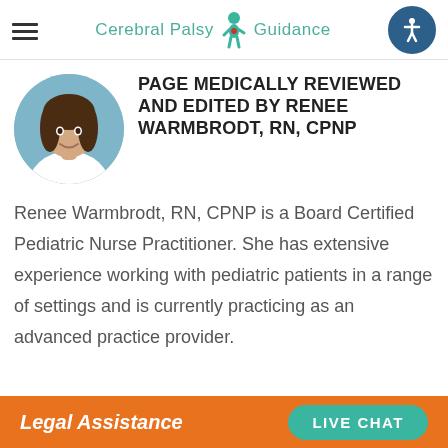Cerebral Palsy Guidance
[Figure (photo): Circular profile photo of Renee Warmbrodt, RN, CPNP — a woman with dark hair wearing a white medical coat against a blue background]
PAGE MEDICALLY REVIEWED AND EDITED BY RENEE WARMBRODT, RN, CPNP
Renee Warmbrodt, RN, CPNP is a Board Certified Pediatric Nurse Practitioner. She has extensive experience working with pediatric patients in a range of settings and is currently practicing as an advanced practice provider.
Legal Assistance  LIVE CHAT